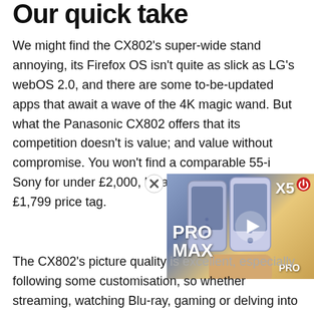Our quick take
We might find the CX802's super-wide stand annoying, its Firefox OS isn't quite as slick as LG's webOS 2.0, and there are some to-be-updated apps that await a wave of the 4K magic wand. But what the Panasonic CX802 offers that its competition doesn't is value; and value without compromise. You won't find a comparable 55-i[nch TV from Samsung or] Sony for under £2,000, let a[lone with Panasonic's] £1,799 price tag.
[Figure (screenshot): Video overlay showing smartphones (PRO MAX and X5 PRO) with a play button]
The CX802's picture quality is excellent, especially following some customisation, so whether streaming, watching Blu-ray, gaming or delving into a bit of daytime TV, everything looks quality. The